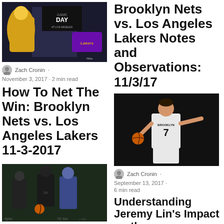[Figure (photo): Lakers game day promotional image with player in yellow uniform]
Zach Cronin
November 3, 2017 · 2 min read
How To Net The Win: Brooklyn Nets vs. Los Angeles Lakers 11-3-2017
[Figure (photo): Basketball game action shot with Brooklyn Nets players]
Nicholas LeTourneau
Brooklyn Nets vs. Los Angeles Lakers Notes and Observations: 11/3/17
[Figure (photo): Jeremy Lin in Brooklyn Nets jersey number 7 pointing on court]
Zach Cronin
September 13, 2017
6 min read
Understanding Jeremy Lin's Impact on the